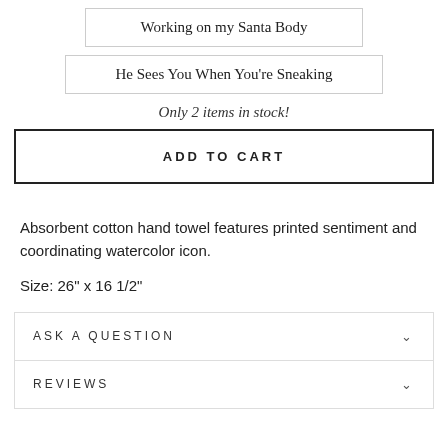Working on my Santa Body
He Sees You When You're Sneaking
Only 2 items in stock!
ADD TO CART
Absorbent cotton hand towel features printed sentiment and coordinating watercolor icon.
Size: 26" x 16 1/2"
ASK A QUESTION
REVIEWS